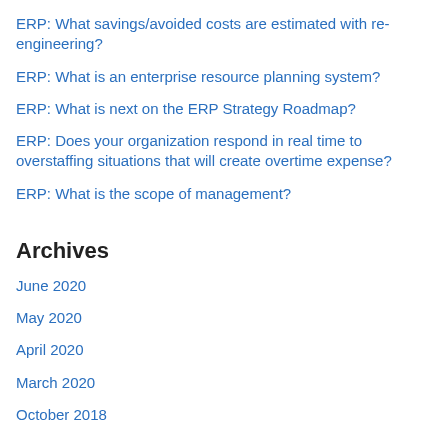ERP: What savings/avoided costs are estimated with re-engineering?
ERP: What is an enterprise resource planning system?
ERP: What is next on the ERP Strategy Roadmap?
ERP: Does your organization respond in real time to overstaffing situations that will create overtime expense?
ERP: What is the scope of management?
Archives
June 2020
May 2020
April 2020
March 2020
October 2018